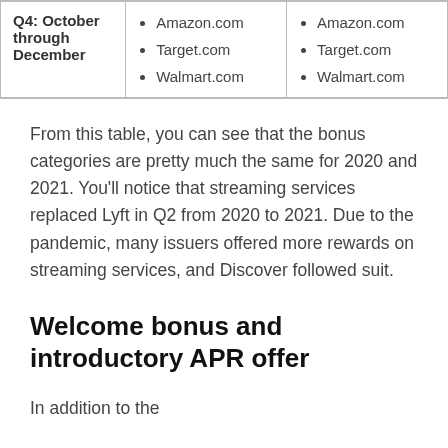|  | 2020 | 2021 |
| --- | --- | --- |
| Q4: October through December | Amazon.com
Target.com
Walmart.com | Amazon.com
Target.com
Walmart.com |
From this table, you can see that the bonus categories are pretty much the same for 2020 and 2021. You'll notice that streaming services replaced Lyft in Q2 from 2020 to 2021. Due to the pandemic, many issuers offered more rewards on streaming services, and Discover followed suit.
Welcome bonus and introductory APR offer
In addition to the...